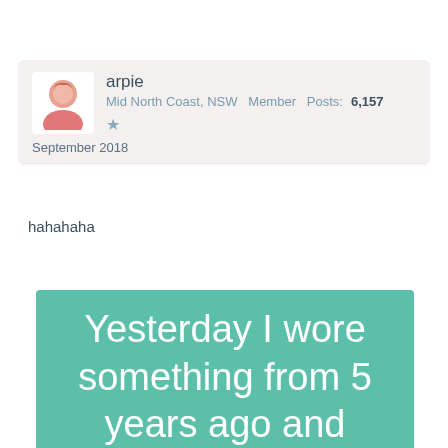arpie
Mid North Coast, NSW  Member  Posts: 6,157
★
September 2018
hahahaha
[Figure (other): Green/teal meme image with white text reading: Yesterday I wore something from 5 years ago and]